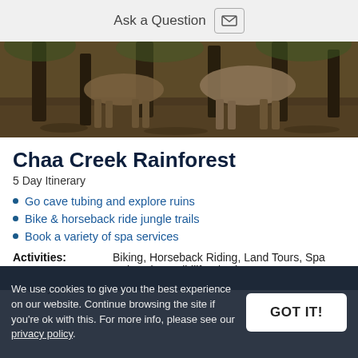Ask a Question
[Figure (photo): Horses walking on a forest floor with tree trunks visible, viewed from ground level showing legs and hooves on leaf-covered dirt ground]
Chaa Creek Rainforest
5 Day Itinerary
Go cave tubing and explore ruins
Bike & horseback ride jungle trails
Book a variety of spa services
Activities: Biking, Horseback Riding, Land Tours, Spa Relaxation, Wildlife Viewing
Activity Level: Relaxed
We use cookies to give you the best experience on our website. Continue browsing the site if you're ok with this. For more info, please see our privacy policy.